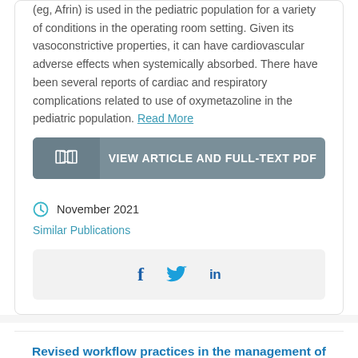(eg, Afrin) is used in the pediatric population for a variety of conditions in the operating room setting. Given its vasoconstrictive properties, it can have cardiovascular adverse effects when systemically absorbed. There have been several reports of cardiac and respiratory complications related to use of oxymetazoline in the pediatric population. Read More
VIEW ARTICLE AND FULL-TEXT PDF
November 2021
Similar Publications
[Figure (infographic): Social sharing icons: Facebook (f), Twitter (bird), LinkedIn (in)]
Revised workflow practices in the management of acute invasive fungal sinusitis during the COVID-19 pandemic.